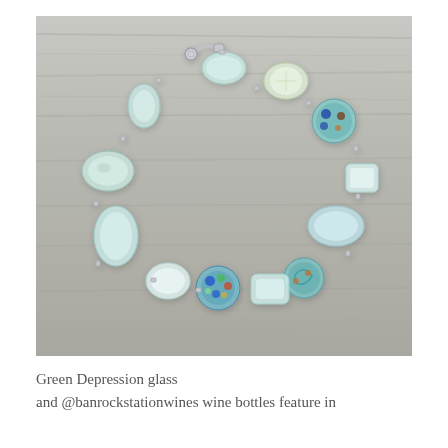[Figure (photo): A handmade bracelet made of light green and clear glass beads arranged in a circular shape on a gray weathered wood surface. The beads include frosted sea glass-style pieces, colorful lampwork beads with blue and multicolor spots and swirls, and clear glass beads, connected with a silver clasp.]
Green Depression glass and @banrockstationwines wine bottles feature in